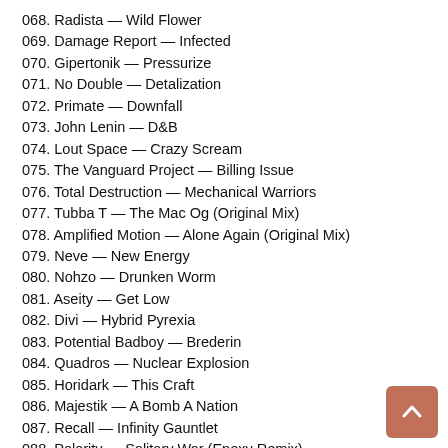068. Radista — Wild Flower
069. Damage Report — Infected
070. Gipertonik — Pressurize
071. No Double — Detalization
072. Primate — Downfall
073. John Lenin — D&B
074. Lout Space — Crazy Scream
075. The Vanguard Project — Billing Issue
076. Total Destruction — Mechanical Warriors
077. Tubba T — The Mac Og (Original Mix)
078. Amplified Motion — Alone Again (Original Mix)
079. Neve — New Energy
080. Nohzo — Drunken Worm
081. Aseity — Get Low
082. Divi — Hybrid Pyrexia
083. Potential Badboy — Brederin
084. Quadros — Nuclear Explosion
085. Horidark — This Craft
086. Majestik — A Bomb A Nation
087. Recall — Infinity Gauntlet
088. Polarity — Solitary War (Epoxy Remix)